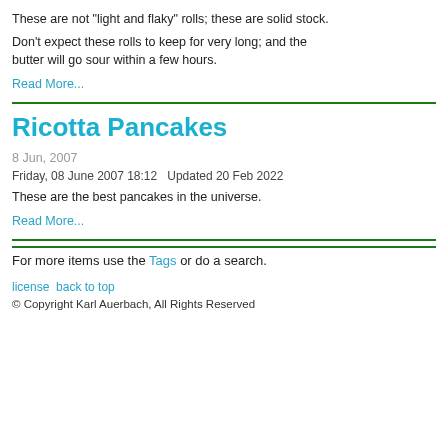These are not "light and flaky" rolls; these are solid stock.
Don't expect these rolls to keep for very long; and the butter will go sour within a few hours.
Read More...
Ricotta Pancakes
8 Jun, 2007
Friday, 08 June 2007 18:12   Updated 20 Feb 2022
These are the best pancakes in the universe.
Read More...
For more items use the Tags or do a search.
license back to top
© Copyright Karl Auerbach, All Rights Reserved